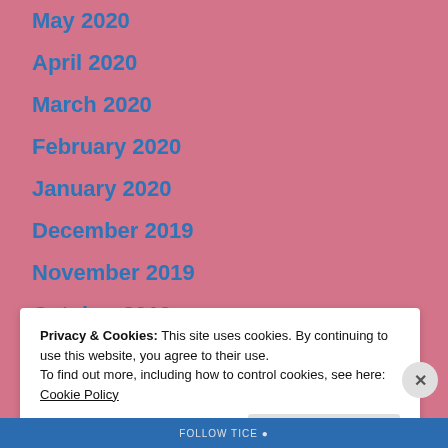May 2020
April 2020
March 2020
February 2020
January 2020
December 2019
November 2019
October 2019
September 2019
Privacy & Cookies: This site uses cookies. By continuing to use this website, you agree to their use.
To find out more, including how to control cookies, see here: Cookie Policy